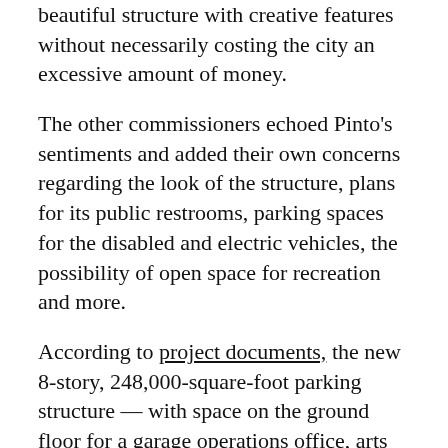beautiful structure with creative features without necessarily costing the city an excessive amount of money.
The other commissioners echoed Pinto's sentiments and added their own concerns regarding the look of the structure, plans for its public restrooms, parking spaces for the disabled and electric vehicles, the possibility of open space for recreation and more.
According to project documents, the new 8-story, 248,000-square-foot parking structure — with space on the ground floor for a garage operations office, arts displays and tenant spaces for a quick-service restaurant and bike parking station for about 270 bikes (which exists now) — would include 711 vehicle parking spots.